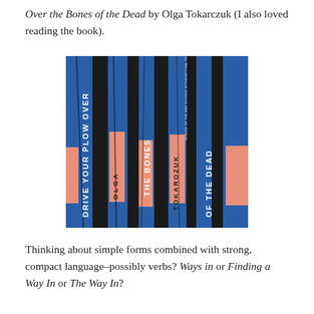Over the Bones of the Dead by Olga Tokarczuk (I also loved reading the book).
[Figure (photo): Book cover of 'Drive Your Plow Over the Bones of the Dead' by Olga Tokarczuk. Dark blue/black background with stylized vertical tree trunks in blue and pink/salmon rectangular shapes. White text reads title and author name vertically.]
Thinking about simple forms combined with strong, compact language–possibly verbs? Ways in or Finding a Way In or The Way In?